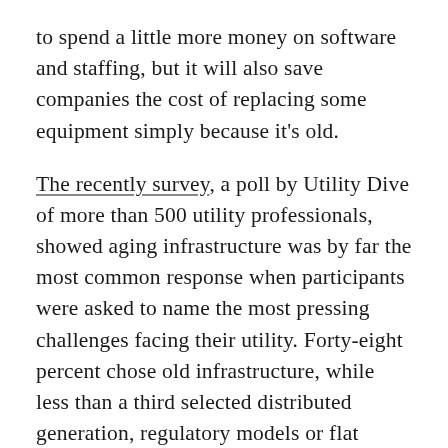to spend a little more money on software and staffing, but it will also save companies the cost of replacing some equipment simply because it's old.
The recently survey, a poll by Utility Dive of more than 500 utility professionals, showed aging infrastructure was by far the most common response when participants were asked to name the most pressing challenges facing their utility. Forty-eight percent chose old infrastructure, while less than a third selected distributed generation, regulatory models or flat demand growth.
Willis says the aging infrastructure problem will “gradually get a bit worse for many years to come,”